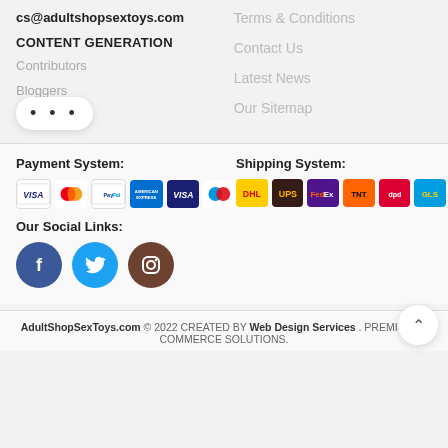cs@adultshopsextoys.com
CONTENT GENERATION
Contributors
Bloggers
Terms & Conditions
Contact Us
Latest News
Our Sitemap
Payment System:
[Figure (logo): Payment logos: VISA, Mastercard, PayPal, American Express, VISA, Maestro]
Shipping System:
[Figure (logo): Shipping logos: DHL, UPS, FedEx, TNT, DPD, GLS]
Our Social Links:
[Figure (illustration): Social media icons: Facebook, Twitter, Instagram]
AdultShopSexToys.com © 2022 CREATED BY Web Design Services . PREMIUM E-COMMERCE SOLUTIONS.